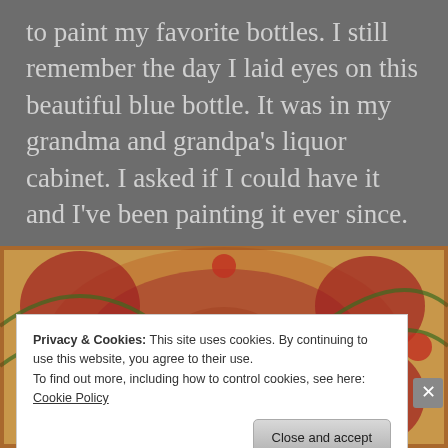to paint my favorite bottles. I still remember the day I laid eyes on this beautiful blue bottle. It was in my grandma and grandpa’s liquor cabinet. I asked if I could have it and I’ve been painting it ever since.
[Figure (photo): Colorful ornate rug with red and green patterns, with a partial view of what appears to be a painted bottle artwork on top]
Privacy & Cookies: This site uses cookies. By continuing to use this website, you agree to their use.
To find out more, including how to control cookies, see here: Cookie Policy